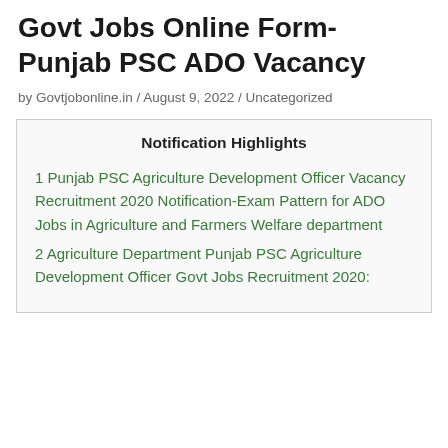Govt Jobs Online Form-Punjab PSC ADO Vacancy
by Govtjobonline.in / August 9, 2022 / Uncategorized
Notification Highlights
1 Punjab PSC Agriculture Development Officer Vacancy Recruitment 2020 Notification-Exam Pattern for ADO Jobs in Agriculture and Farmers Welfare department
2 Agriculture Department Punjab PSC Agriculture Development Officer Govt Jobs Recruitment 2020: